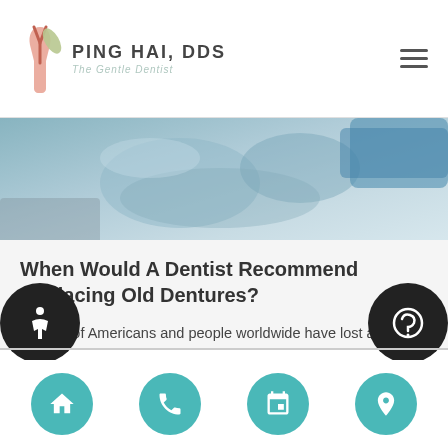PING HAI, DDS — The Gentle Dentist
[Figure (photo): Close-up photo of dental procedure with gloved hands and dental tools, blue/teal color tones]
When Would A Dentist Recommend Replacing Old Dentures?
Millions of Americans and people worldwide have lost a tooth or teeth, many of whom opt to get dentures made. Tooth loss can occur due to an accident or injury, disease in the teeth or gums, or slow decay over time. Dentures are one of the most well-established, effective ways to deal with the loss of…